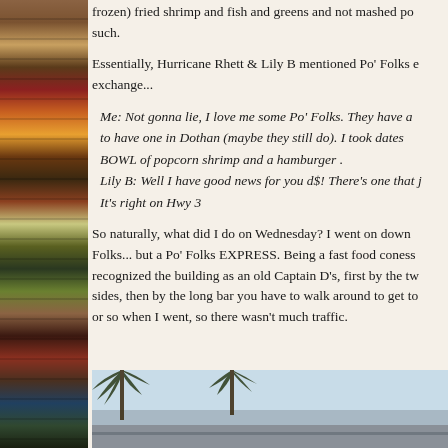frozen) fried shrimp and fish and greens and not mashed po... such.
Essentially, Hurricane Rhett & Lily B mentioned Po' Folks e... exchange...
Me: Not gonna lie, I love me some Po' Folks. They have a... to have one in Dothan (maybe they still do). I took dates... BOWL of popcorn shrimp and a hamburger... Lily B: Well I have good news for you d$! There's one that j... It's right on Hwy 3...
So naturally, what did I do on Wednesday? I went on down... Folks... but a Po' Folks EXPRESS. Being a fast food coness... recognized the building as an old Captain D's, first by the tw... sides, then by the long bar you have to walk around to get to... or so when I went, so there wasn't much traffic.
[Figure (photo): Outdoor photo showing a light blue sky with palm trees visible at the top, likely a restaurant exterior.]